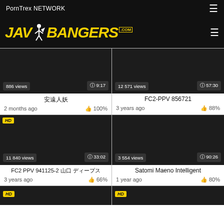PornTrex NETWORK
[Figure (logo): JAV BANGERS .com logo in yellow italic bold text on black background with a figure icon]
[Figure (screenshot): Video thumbnail 1 - dark/black, 886 views, 9:17 duration, 2 months ago, 100% likes]
[Figure (screenshot): Video thumbnail 2 - dark/black, 12 571 views, 57:30 duration, FC2-PPV 856721, 3 years ago, 88% likes]
[Figure (screenshot): Video thumbnail 3 HD - dark/black, 11 840 views, 33:02 duration, FC2 PPV 941125-2, 3 years ago, 66% likes]
[Figure (screenshot): Video thumbnail 4 - dark/black, 3 554 views, 90:26 duration, Satomi Maeno Intelligent, 1 year ago, 80% likes]
[Figure (screenshot): Video thumbnail 5 HD - partially visible at bottom]
[Figure (screenshot): Video thumbnail 6 HD - partially visible at bottom]